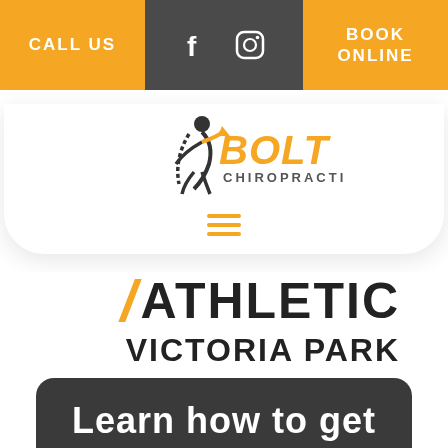CALL US | [social icons] | BOOK ONLINE
[Figure (logo): Bolt Chiropractic logo with stylized figure and orange text]
/ ATHLETIC
VICTORIA PARK
Learn how to get